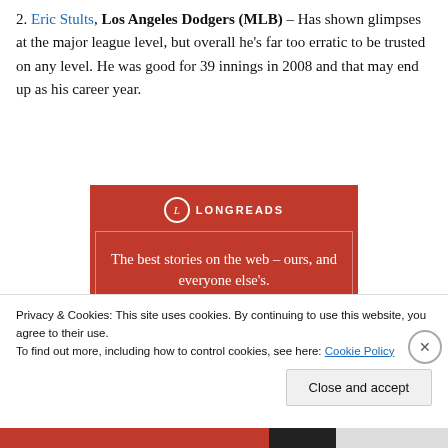2. Eric Stults, Los Angeles Dodgers (MLB) – Has shown glimpses at the major league level, but overall he's far too erratic to be trusted on any level. He was good for 39 innings in 2008 and that may end up as his career year.
[Figure (infographic): Longreads advertisement banner on red background. Logo circle with L, LONGREADS text, tagline 'The best stories on the web – ours, and everyone else's.' with a black 'Start reading' button.]
Privacy & Cookies: This site uses cookies. By continuing to use this website, you agree to their use.
To find out more, including how to control cookies, see here: Cookie Policy
Close and accept